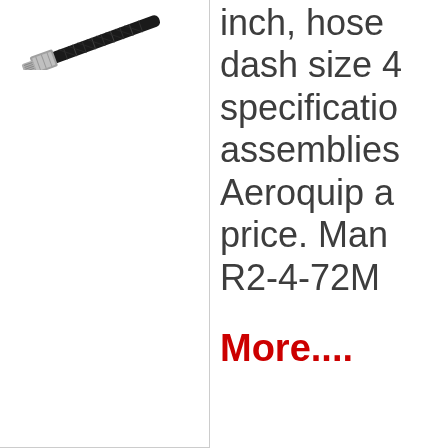[Figure (photo): A hydraulic hose assembly with a metal fitting/connector at one end and black braided hose, shown diagonally against a white background.]
inch, hose dash size 4 specification assemblies Aeroquip a price. Man R2-4-72M
More....